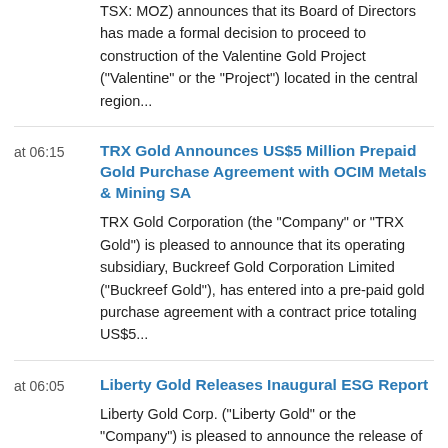TSX: MOZ) announces that its Board of Directors has made a formal decision to proceed to construction of the Valentine Gold Project ("Valentine" or the "Project") located in the central region...
TRX Gold Announces US$5 Million Prepaid Gold Purchase Agreement with OCIM Metals & Mining SA
TRX Gold Corporation (the "Company" or "TRX Gold") is pleased to announce that its operating subsidiary, Buckreef Gold Corporation Limited ("Buckreef Gold"), has entered into a pre-paid gold purchase agreement with a contract price totaling US$5...
Liberty Gold Releases Inaugural ESG Report
Liberty Gold Corp. ("Liberty Gold" or the "Company") is pleased to announce the release of the company's inaugural Environmental, Social and Governance ("ESG") Report, reflecting our commitment to responsible, transparent and ethical exploration and...
First Quantum Announces Senior Leadership